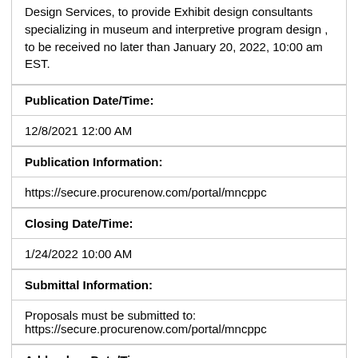Design Services, to provide Exhibit design consultants specializing in museum and interpretive program design , to be received no later than January 20, 2022, 10:00 am EST.
Publication Date/Time:
12/8/2021 12:00 AM
Publication Information:
https://secure.procurenow.com/portal/mncppc
Closing Date/Time:
1/24/2022 10:00 AM
Submittal Information:
Proposals must be submitted to: https://secure.procurenow.com/portal/mncppc
Addendum Date/Time:
1/14/2022